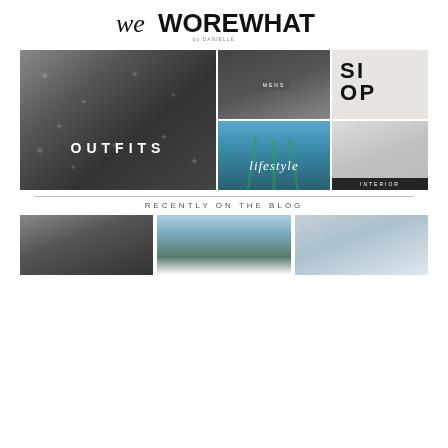[Figure (logo): weWOREWHAT by Danielle logo — stylized script 'we' combined with bold uppercase WOREWHAT, with 'by DANIELLE' underneath in small caps]
[Figure (infographic): Navigation grid of four lifestyle photo categories: OUTFITS (large left panel — woman in black star-print dress), MENS (top center — shoes/sneakers close-up on dark background), Lifestyle (bottom center — palm trees from below against blue sky), SHOP (top right — black and white graphic with bold text), INTERIOR (bottom right — minimalist interior room photo)]
RECENTLY ON THE BLOG
[Figure (photo): Fashion blog thumbnail: woman in black coat against concrete wall]
[Figure (photo): Blog thumbnail: snowy mountain landscape with evergreen trees]
[Figure (photo): Blog thumbnail: winter scene with person in snowy landscape]